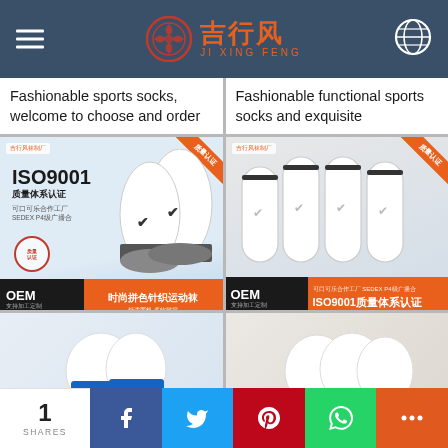吉行风 JI XING FENG
Fashionable sports socks, welcome to choose and order
Fashionable functional sports socks and exquisite
[Figure (photo): Sports socks product image with ISO9001 certification, OEM label, showing ankle socks in black and white with grey accents]
High quality sports socks manufacturers specializing in
[Figure (photo): Sports socks product image with ISO9001 certification, OEM label, showing four white crew socks displayed in a row]
High quality sports socks manufacturer
[Figure (photo): Partial product image showing white and blue socks]
[Figure (photo): Partial product image (bottom right, cropped)]
1 SHARES  Facebook  Twitter  Pinterest  WhatsApp  More